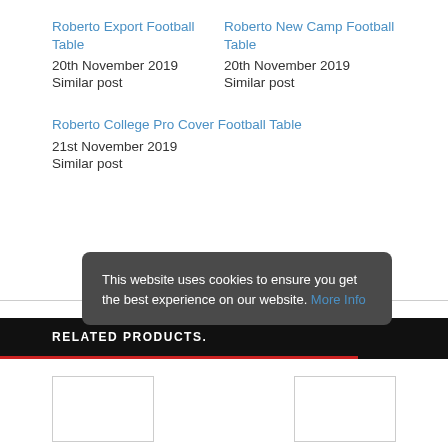Roberto Export Football Table
20th November 2019
Similar post
Roberto New Camp Football Table
20th November 2019
Similar post
Roberto College Pro Cover Football Table
21st November 2019
Similar post
This website uses cookies to ensure you get the best experience on our website. More Info
RELATED PRODUCTS.